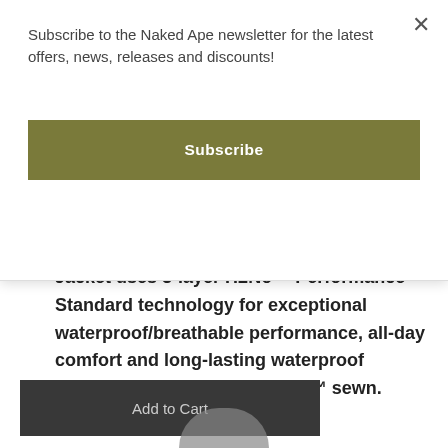Subscribe to the Naked Ape newsletter for the latest offers, news, releases and discounts!
Subscribe
mple and unpretentious, our trusted Torrentshell 3L Jacket uses 3-layer H2No™ Performance Standard technology for exceptional waterproof/breathable performance, all-day comfort and long-lasting waterproof durability. Fair Trade Certified™ sewn.
Add to Cart